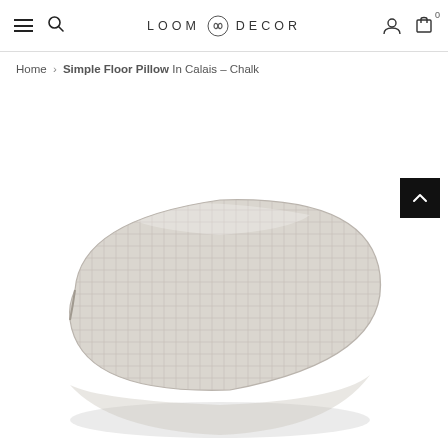LOOM DECOR
Home > Simple Floor Pillow In Calais - Chalk
[Figure (photo): A large square floor pillow with a subtle grid/check woven pattern in light grey/chalk color, photographed at an angle on a white background.]